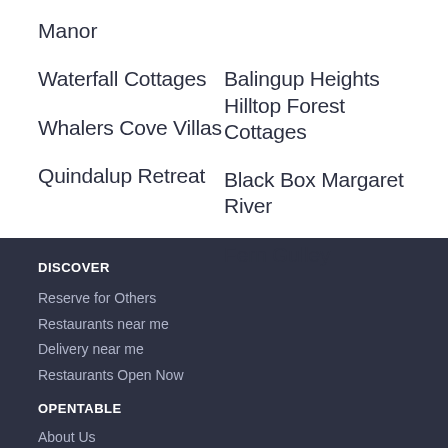Manor
Waterfall Cottages
Balingup Heights Hilltop Forest Cottages
Whalers Cove Villas
Black Box Margaret River
Quindalup Retreat
Fern Gulley
DISCOVER
Reserve for Others
Restaurants near me
Delivery near me
Restaurants Open Now
OPENTABLE
About Us
Careers